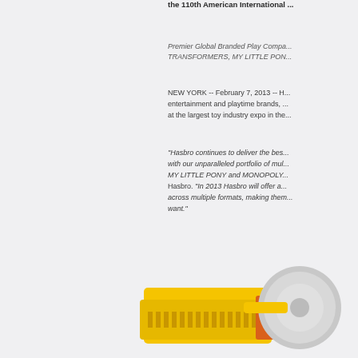the 110th American International...
Premier Global Branded Play Compa... TRANSFORMERS, MY LITTLE PON...
NEW YORK -- February 7, 2013 -- H... entertainment and playtime brands, ... at the largest toy industry expo in the...
"Hasbro continues to deliver the bes... with our unparalleled portfolio of mul... MY LITTLE PONY and MONOPOLY... Hasbro. "In 2013 Hasbro will offer a... across multiple formats, making them... want."
[Figure (photo): Yellow toy construction vehicle or robot figure with silver/chrome disc element, photographed against light background]